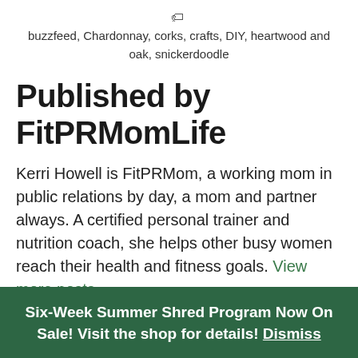buzzfeed, Chardonnay, corks, crafts, DIY, heartwood and oak, snickerdoodle
Published by FitPRMomLife
Kerri Howell is FitPRMom, a working mom in public relations by day, a mom and partner always. A certified personal trainer and nutrition coach, she helps other busy women reach their health and fitness goals. View more posts
Six-Week Summer Shred Program Now On Sale! Visit the shop for details! Dismiss